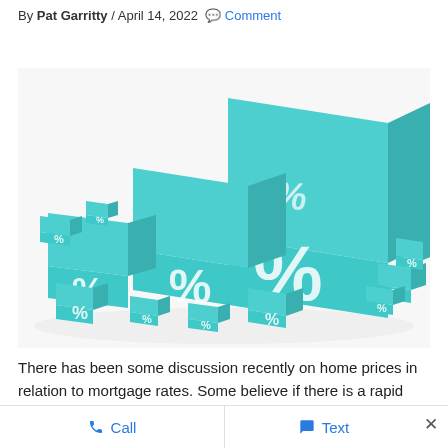By Pat Garritty / April 14, 2022 💬 Comment
[Figure (illustration): Multiple 3D teal-colored cubes of varying sizes with white percent signs (%) on their faces, arranged on a white surface. The cubes range from very small to a large dominant cube in the upper right, all featuring the % symbol on visible faces.]
There has been some discussion recently on home prices in relation to mortgage rates. Some believe if there is a rapid rise of mortgage rates, home prices should decrease.
📞 Call   💬 Text   ×